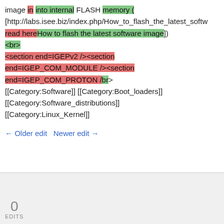image in into internal FLASH memory ( [http://labs.isee.biz/index.php/How_to_flash_the_latest_softw read hereHow to flash the latest software image]) <br> <section end=IGEPv2 /><section end=IGEP_COM_MODULE /><section end=IGEP_COM_PROTON /br> [[Category:Software]] [[Category:Boot_loaders]] [[Category:Software_distributions]] [[Category:Linux_Kernel]]
← Older edit  Newer edit →
0
EDITS